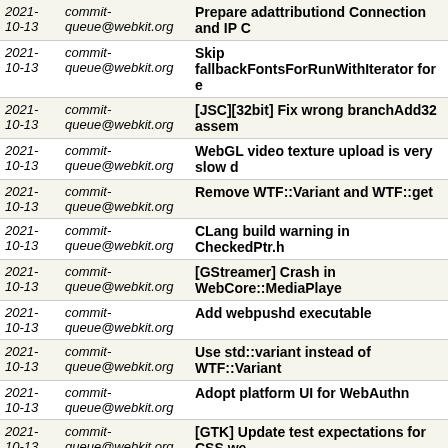| Date | From | Subject |
| --- | --- | --- |
| 2021-10-13 | commit-queue@webkit.org | Prepare adattributiond Connection and IP C... |
| 2021-10-13 | commit-queue@webkit.org | Skip fallbackFontsForRunWithIterator for e... |
| 2021-10-13 | commit-queue@webkit.org | [JSC][32bit] Fix wrong branchAdd32 assem... |
| 2021-10-13 | commit-queue@webkit.org | WebGL video texture upload is very slow d... |
| 2021-10-13 | commit-queue@webkit.org | Remove WTF::Variant and WTF::get |
| 2021-10-13 | commit-queue@webkit.org | CLang build warning in CheckedPtr.h |
| 2021-10-13 | commit-queue@webkit.org | [GStreamer] Crash in WebCore::MediaPlaye... |
| 2021-10-13 | commit-queue@webkit.org | Add webpushd executable |
| 2021-10-13 | commit-queue@webkit.org | Use std::variant instead of WTF::Variant |
| 2021-10-13 | commit-queue@webkit.org | Adopt platform UI for WebAuthn |
| 2021-10-13 | commit-queue@webkit.org | [GTK] Update test expectations for CSS we... |
| 2021-10-12 | commit-queue@webkit.org | Reduce use of WebCore structures in adatt... |
| 2021-10-12 | commit-queue@webkit.org | ASSERT hit in surrogatePairAwareIndex and surrogatePairAware... |
| 2021-10-12 | commit-queue@webkit.org | WebKitTestRunner should check mainFrame... |